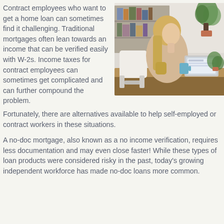Contract employees who want to get a home loan can sometimes find it challenging. Traditional mortgages often lean towards an income that can be verified easily with W-2s. Income taxes for contract employees can sometimes get complicated and can further compound the problem.
[Figure (photo): A woman with long blonde hair sitting at a desk working on a laptop, in a bright home office setting with plants and bookshelves in the background.]
Fortunately, there are alternatives available to help self-employed or contract workers in these situations.
A no-doc mortgage, also known as a no income verification, requires less documentation and may even close faster! While these types of loan products were considered risky in the past, today's growing independent workforce has made no-doc loans more common.